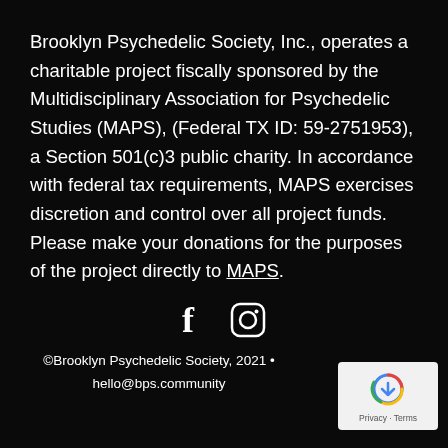Brooklyn Psychedelic Society, Inc., operates a charitable project fiscally sponsored by the Multidisciplinary Association for Psychedelic Studies (MAPS), (Federal TX ID: 59-2751953), a Section 501(c)3 public charity. In accordance with federal tax requirements, MAPS exercises discretion and control over all project funds. Please make your donations for the purposes of the project directly to MAPS.
[Figure (other): Social media icons: Facebook (f) and Instagram (circle camera icon)]
©Brooklyn Psychedelic Society, 2021 • hello@bps.community
[Figure (logo): reCAPTCHA badge with Privacy · Terms text]